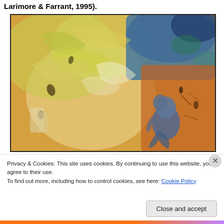Larimore & Farrant, 1995).
[Figure (illustration): Abstract expressionist painting with swirling brushstrokes in yellow, green, blue, and orange tones. A crouched blue human figure is visible in the lower right portion of the painting against an orange-rust background. The upper portion features energetic yellow-green and blue brushstrokes suggesting foliage or wind.]
Privacy & Cookies: This site uses cookies. By continuing to use this website, you agree to their use.
To find out more, including how to control cookies, see here: Cookie Policy
Close and accept